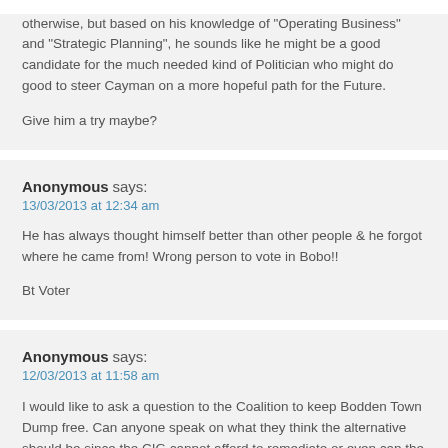otherwise, but based on his knowledge of "Operating Business" and "Strategic Planning", he sounds like he might be a good candidate for the much needed kind of Politician who might do good to steer Cayman on a more hopeful path for the Future.

Give him a try maybe?
Anonymous says:
13/03/2013 at 12:34 am

He has always thought himself better than other people & he forgot where he came from! Wrong person to vote in Bobo!!

Bt Voter
Anonymous says:
12/03/2013 at 11:58 am

I would like to ask a question to the Coalition to keep Bodden Town Dump free. Can anyone speak on what they think the alternative should be since the CIG cannot afford to remediate or even cap the current dump in Georgetown. While I understand and respect your concerns I would like to